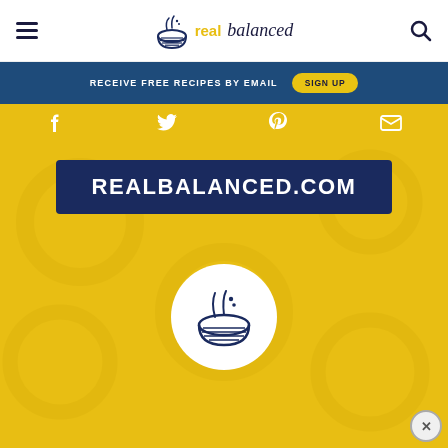real balanced — realbalanced.com navigation header
RECEIVE FREE RECIPES BY EMAIL   SIGN UP
[Figure (screenshot): Social share icons bar: Facebook, Twitter, Pinterest, Email on yellow background]
REALBALANCED.COM
[Figure (logo): Real Balanced bowl logo icon in white circle on yellow background]